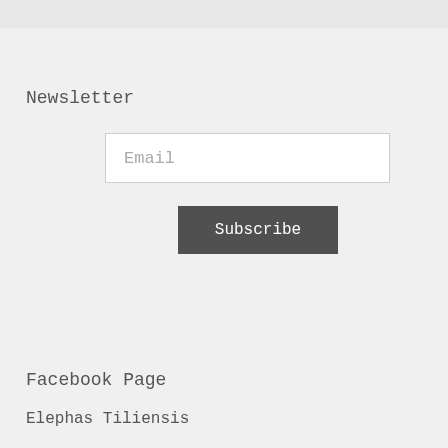Newsletter
[Figure (other): Email input field with placeholder text 'Email']
[Figure (other): Subscribe button with dark grey background]
Facebook Page
Elephas Tiliensis